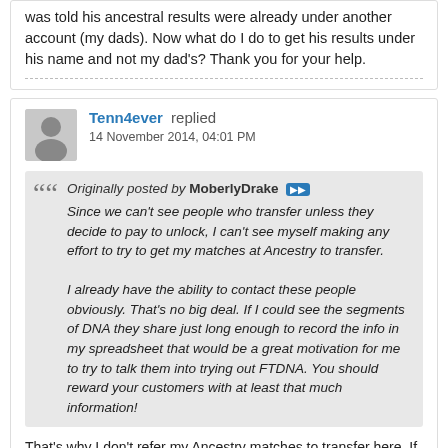was told his ancestral results were already under another account (my dads). Now what do I do to get his results under his name and not my dad's? Thank you for your help.
Tenn4ever replied
14 November 2014, 04:01 PM
Originally posted by MoberlyDrake Since we can't see people who transfer unless they decide to pay to unlock, I can't see myself making any effort to try to get my matches at Ancestry to transfer.

I already have the ability to contact these people obviously. That's no big deal. If I could see the segments of DNA they share just long enough to record the info in my spreadsheet that would be a great motivation for me to try to talk them into trying out FTDNA. You should reward your customers with at least that much information!
That's why I don't refer my Ancestry matches to transfer here. If I encourage them to transfer to Gedmatch then I can see the results right away if the advise me of their kit number.
I know this is a money-making business and I respect that but paying customers should be able to see these matches(if there's a match within the first twenty) even if they don't end up paying the $39.